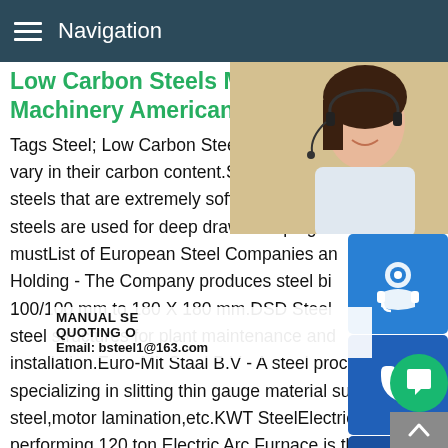Navigation
Low Carbon Steels Metal Pro Machinery American
Tags Steel; Low Carbon Steels.There are vary in their carbon content.SAE 1006 to 1 steels that are extremely soft and ductile.S steels are used for deep draw stampings w mustList of European Steel Companies an Holding - The Company produces steel bi 100/100 mm to 180 X 180 mm.DSD Steel steel structures for plant maintenance and installation.Euro-Mit Staal B.V - A steel processing service center specializing in slitting thin gauge material such as electrical steel,motor lamination,etc.KWT SteelElectric Arc Furnace.The high performing 120 ton Electric Arc Furnace is the result of choosi the best technology such as Ultra High Power (130 MVA transformer) design which allows to operate the furnace at hig
[Figure (photo): Woman with headset, customer service representative photo and blue icon buttons for chat, phone, Skype, plus contact overlay with MANUAL SE, QUOTING O, Email: bsteel1@163.com]